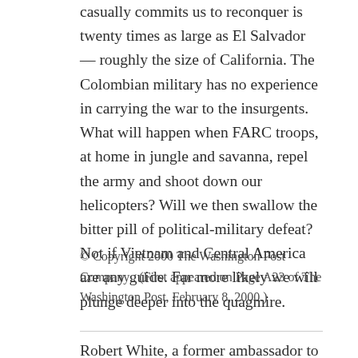casually commits us to reconquer is twenty times as large as El Salvador — roughly the size of California. The Colombian military has no experience in carrying the war to the insurgents. What will happen when FARC troops, at home in jungle and savanna, repel the army and shoot down our helicopters? Will we then swallow the bitter pill of political-military defeat? Not if Vietnam and Central America are any guide. Far more likely we will plunge deeper into the quagmire.
© Copyright 2000 The Washington Post Company . (First appeared on Page A23 of The Washington Post, February 8, 2000.)
Robert White, a former ambassador to El Salvador